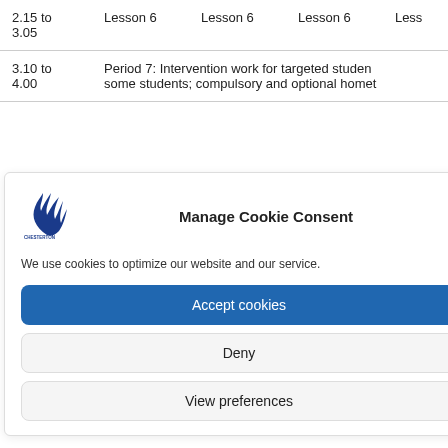| 2.15 to 3.05 | Lesson 6 | Lesson 6 | Lesson 6 | Less… |
| 3.10 to 4.00 | Period 7: Intervention work for targeted studen… some students; compulsory and optional homet… |  |  |  |
Manage Cookie Consent
We use cookies to optimize our website and our service.
Accept cookies
Deny
View preferences